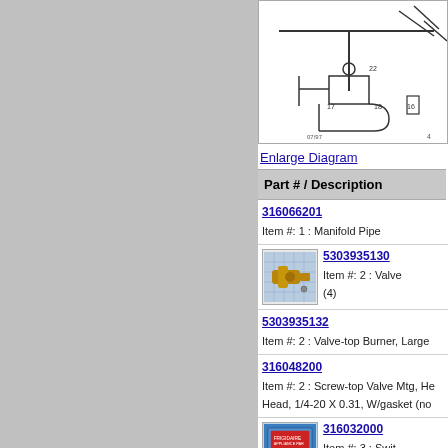[Figure (schematic): Engineering schematic/diagram of gas range manifold and valve assembly, showing numbered parts including items 17, 18, 22 and others with connecting pipes and components. Small text reads '07/97' and '4'.]
Enlarge Diagram
Part # / Description
316066201
Item #: 1 : Manifold Pipe
[Figure (photo): Photo of a brass valve component (Item #2) against a blue grid background.]
5303935130
Item #: 2 : Valve (4)
5303935132
Item #: 2 : Valve-top Burner, Large
316048200
Item #: 2 : Screw-top Valve Mtg, Hex Head, 1/4-20 X 0.31, W/gasket (no
[Figure (photo): Photo of a packaged switch part (Item #3) with blue packaging and red label.]
316032000
Item #: 3 : Swit